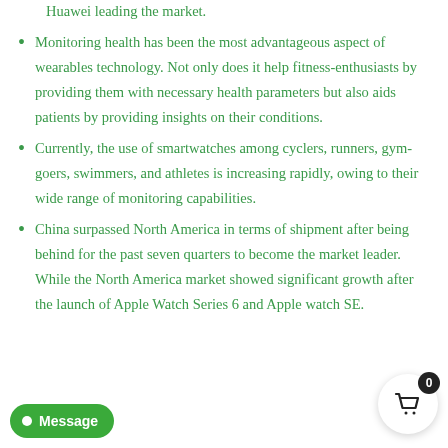Huawei leading the market.
Monitoring health has been the most advantageous aspect of wearables technology. Not only does it help fitness-enthusiasts by providing them with necessary health parameters but also aids patients by providing insights on their conditions.
Currently, the use of smartwatches among cyclers, runners, gym-goers, swimmers, and athletes is increasing rapidly, owing to their wide range of monitoring capabilities.
China surpassed North America in terms of shipment after being behind for the past seven quarters to become the market leader. While the North America market showed significant growth after the launch of Apple Watch Series 6 and Apple watch SE.